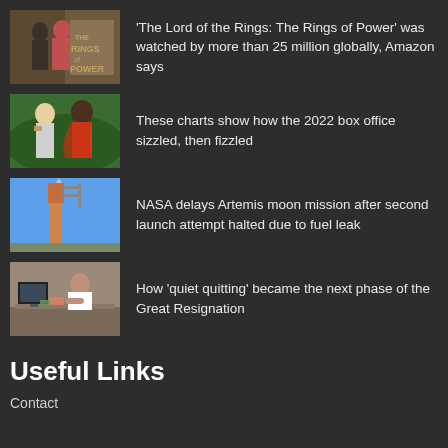'The Lord of the Rings: The Rings of Power' was watched by more than 25 million globally, Amazon says
These charts show how the 2022 box office sizzled, then fizzled
NASA delays Artemis moon mission after second launch attempt halted due to fuel leak
How 'quiet quitting' became the next phase of the Great Resignation
Useful Links
Contact